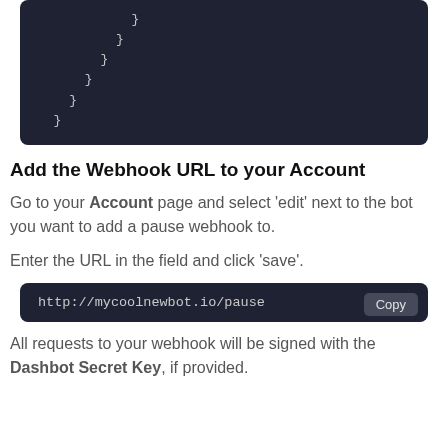[Figure (screenshot): Dark code editor block showing closing curly braces at various indentation levels in white/light gray monospace font on dark background (#1e2233). Lines show: }, }, }, }, }]
Add the Webhook URL to your Account
Go to your Account page and select ‘edit’ next to the bot you want to add a pause webhook to.
Enter the URL in the field and click ‘save’.
[Figure (screenshot): Dark code block showing URL: http://mycoolnewbot.io/pause with a Copy button in top right]
All requests to your webhook will be signed with the Dashbot Secret Key, if provided.